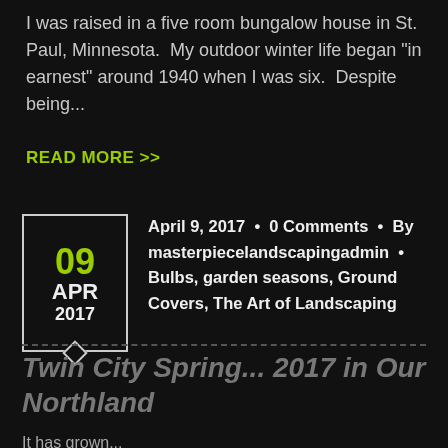I was raised in a five room bungalow house in St. Paul, Minnesota.  My outdoor winter life began "in earnest" around 1940 when I was six.  Despite being...
READ MORE >>
April 9, 2017  •  0 Comments  •  By masterpiecelandscapingadmin  •  Bulbs, garden seasons, Ground Covers, The Art of Landscaping
Twin City Spring... 2017 in Our Northland
It has grown...